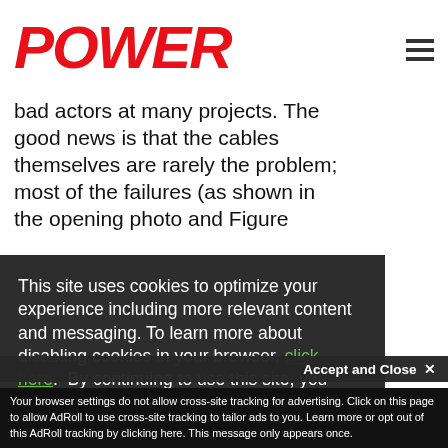POWER
bad actors at many projects. The good news is that the cables themselves are rarely the problem; most of the failures (as shown in the opening photo and Figure
te
[Figure (photo): Soil/earth photo visible on right side of page]
This site uses cookies to optimize your experience including more relevant content and messaging. To learn more about disabling cookies in your browser, click here.  By continuing to use this site, you accept our use of cookies. For more information, view our updated Privacy Policy.
I consent
Your browser settings do not allow cross-site tracking for advertising. Click on this page to allow AdRoll to use cross-site tracking to tailor ads to you. Learn more or opt out of this AdRoll tracking by clicking here. This message only appears once.
Accept and Close ✕